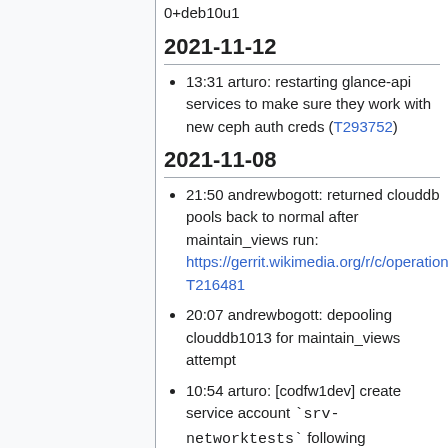0+deb10u1
2021-11-12
13:31 arturo: restarting glance-api services to make sure they work with new ceph auth creds (T293752)
2021-11-08
21:50 andrewbogott: returned clouddb pools back to normal after maintain_views run: https://gerrit.wikimedia.org/r/c/operations/puppet/+/737505 T216481
20:07 andrewbogott: depooling clouddb1013 for maintain_views attempt
10:54 arturo: [codfw1dev] create service account `srv-networktests` following https://wikitech.wikimedia.org/wiki/Po